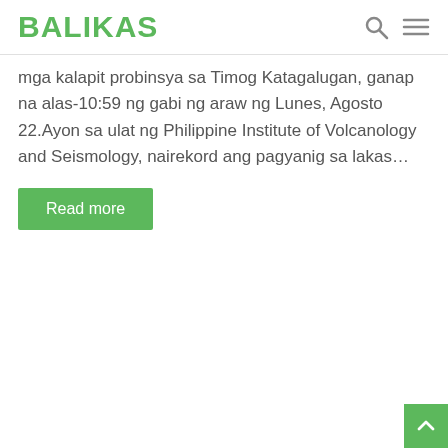BALIKAS
mga kalapit probinsya sa Timog Katagalugan, ganap na alas-10:59 ng gabi ng araw ng Lunes, Agosto 22.Ayon sa ulat ng Philippine Institute of Volcanology and Seismology, nairekord ang pagyanig sa lakas…
Read more